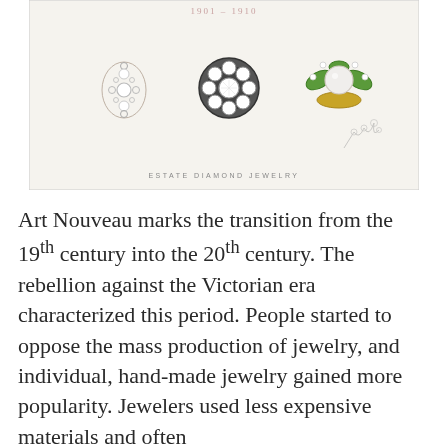[Figure (illustration): Card or placard showing three antique jewelry rings (Art Nouveau era, 1901-1910): a diamond cross-shaped ring, a round floral diamond cluster ring, and a green enamel ring with pearl center. The card reads 'ESTATE DIAMOND JEWELRY' at the bottom and has a small floral sketch in the lower right corner.]
Art Nouveau marks the transition from the 19th century into the 20th century. The rebellion against the Victorian era characterized this period. People started to oppose the mass production of jewelry, and individual, hand-made jewelry gained more popularity. Jewelers used less expensive materials and often